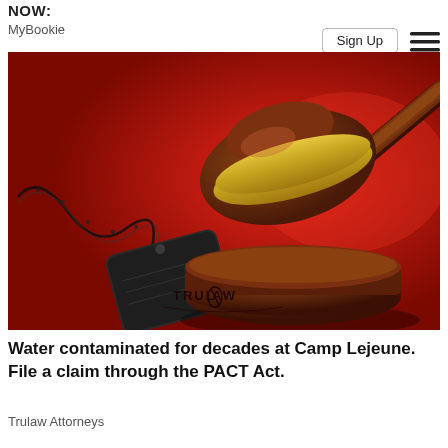NOW:
MyBookie
Sign Up
[Figure (photo): A judge's gavel with a gold band resting on its sound block beside a military dog tag on a chain, set against a vivid red background. The TruLaw logo is visible at the bottom center of the image.]
Water contaminated for decades at Camp Lejeune. File a claim through the PACT Act.
Trulaw Attorneys